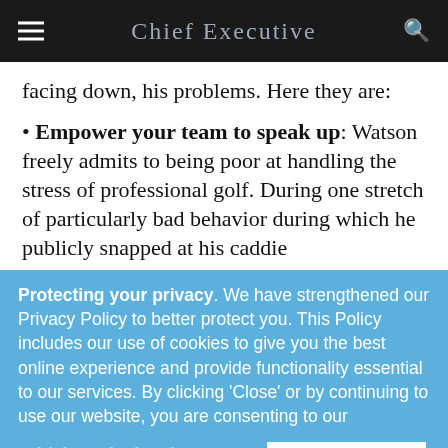Chief Executive
facing down, his problems. Here they are:
Empower your team to speak up: Watson freely admits to being poor at handling the stress of professional golf. During one stretch of particularly bad behavior during which he publicly snapped at his caddie
Protecting your privacy. We have strengthened our Privacy Policy to better protect you. This Policy includes our use of cookies to give you the best online experience and provide functionality essential to our services. By clicking 'Close' or by continuing to use our website, you are consenting to our
which em he hand
Accept and Close ✕
Your browser settings do not allow cross-site tracking for advertising. Click on this page to allow AdRoll to use cross-site tracking to tailor ads to you. Learn more or opt out of this AdRoll tracking by clicking here. This message only appears once.